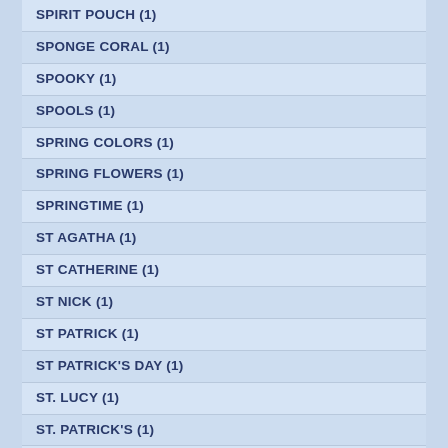SPIRIT POUCH (1)
SPONGE CORAL (1)
SPOOKY (1)
SPOOLS (1)
SPRING COLORS (1)
SPRING FLOWERS (1)
SPRINGTIME (1)
ST AGATHA (1)
ST CATHERINE (1)
ST NICK (1)
ST PATRICK (1)
ST PATRICK'S DAY (1)
ST. LUCY (1)
ST. PATRICK'S (1)
ST. PATRICKS DAY (1)
ST. VALENTINES (1)
STAG (1)
STALACTITE (1)